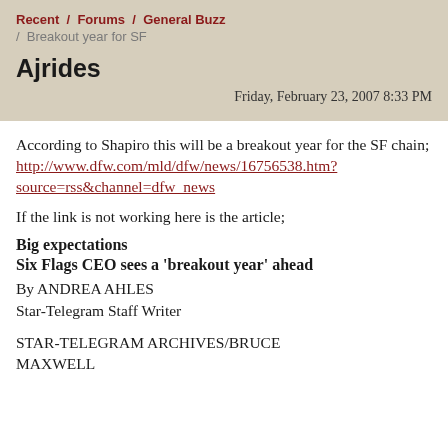Recent / Forums / General Buzz / Breakout year for SF
Ajrides
Friday, February 23, 2007 8:33 PM
According to Shapiro this will be a breakout year for the SF chain; http://www.dfw.com/mld/dfw/news/16756538.htm?source=rss&channel=dfw_news
If the link is not working here is the article;
Big expectations
Six Flags CEO sees a 'breakout year' ahead
By ANDREA AHLES
Star-Telegram Staff Writer
STAR-TELEGRAM ARCHIVES/BRUCE MAXWELL